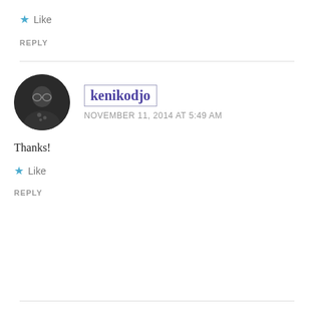★ Like
REPLY
kenikodjo
NOVEMBER 11, 2014 AT 5:49 AM
Thanks!
★ Like
REPLY